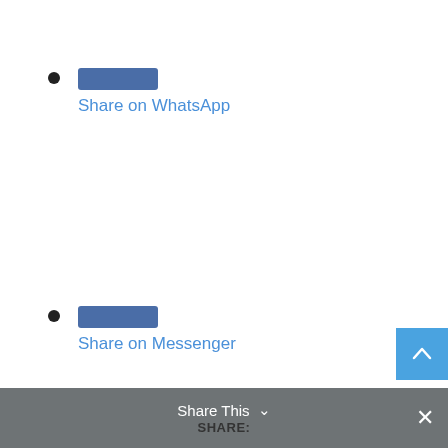Share on WhatsApp
Share on Messenger
REUSE THIS CONTENT
Share This SHARE: